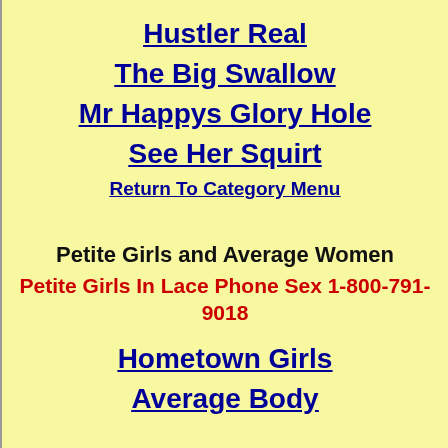Hustler Real
The Big Swallow
Mr Happys Glory Hole
See Her Squirt
Return To Category Menu
Petite Girls and Average Women
Petite Girls In Lace Phone Sex 1-800-791-9018
Hometown Girls
Average Body